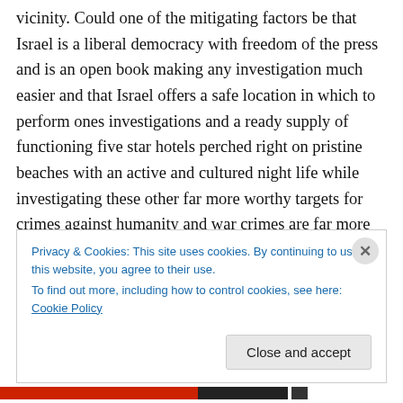vicinity. Could one of the mitigating factors be that Israel is a liberal democracy with freedom of the press and is an open book making any investigation much easier and that Israel offers a safe location in which to perform ones investigations and a ready supply of functioning five star hotels perched right on pristine beaches with an active and cultured night life while investigating these other far more worthy targets for crimes against humanity and war crimes are far more dangerous, have limited accommodations while conducting the investigation and simply looking into actions of these entities could easily
Privacy & Cookies: This site uses cookies. By continuing to use this website, you agree to their use.
To find out more, including how to control cookies, see here: Cookie Policy